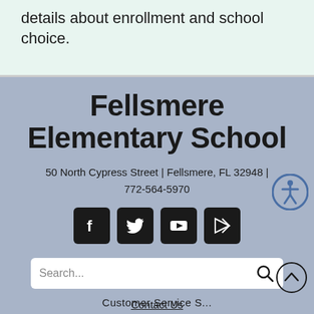details about enrollment and school choice.
Fellsmere Elementary School
50 North Cypress Street | Fellsmere, FL 32948 | 772-564-5970
[Figure (screenshot): Social media icons: Facebook, Twitter, YouTube, and Peachjar]
[Figure (screenshot): Search bar with search icon]
Contact Us
Customer Service...